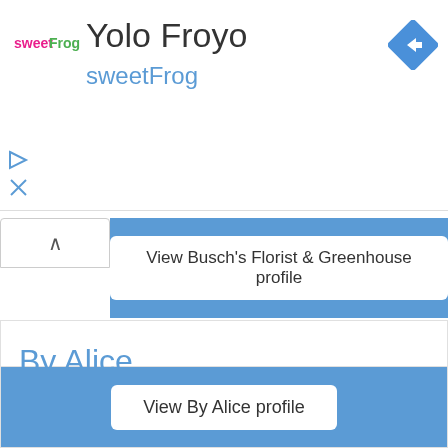[Figure (logo): sweetFrog logo with pink 'sweet' and green 'Frog' text]
Yolo Froyo
sweetFrog
[Figure (other): Blue diamond-shaped navigation/directions icon with white arrow]
View Busch's Florist & Greenhouse profile
By Alice
Offering distinct wedding invitations with personal one-on-one service.
5555 St. Louis, Hazelwood, MO 63120
View By Alice profile